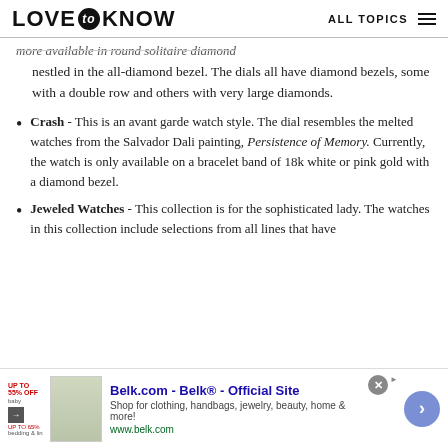LOVE to KNOW   ALL TOPICS
nestled in the all-diamond bezel. The dials all have diamond bezels, some with a double row and others with very large diamonds.
Crash - This is an avant garde watch style. The dial resembles the melted watches from the Salvador Dali painting, Persistence of Memory. Currently, the watch is only available on a bracelet band of 18k white or pink gold with a diamond bezel.
Jeweled Watches - This collection is for the sophisticated lady. The watches in this collection include selections from all lines that have
[Figure (screenshot): Advertisement banner for Belk.com - Belk Official Site. Shows ad image, title, description and navigation arrow button.]